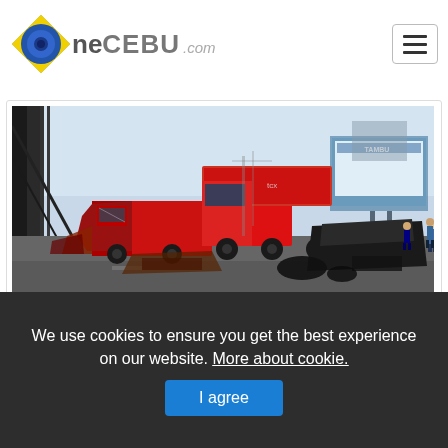OneCEBU.com
[Figure (photo): News article card showing a road accident scene with multiple red trucks (including a container truck) that have collided. People are standing around the wreckage. A billboard is visible in the background on the right side.]
We use cookies to ensure you get the best experience on our website. More about cookie.
I agree